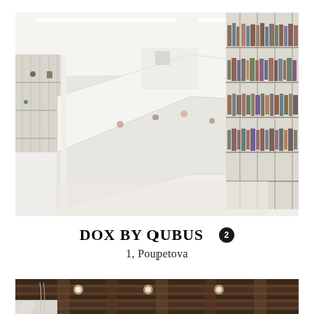[Figure (photo): Interior of DOX by Qubus design store/library. Wide-angle view of a bright white minimalist space with glass display cases on the left, a long white angled display counter in the center, and bookshelves filled with books and design objects on the right wall. Fluorescent strip lighting on the ceiling.]
DOX BY QUBUS 2
1, Poupetova
[Figure (photo): Partial interior view showing wooden beam ceiling with warm lighting, white walls, part of an object or sculpture visible at bottom left.]